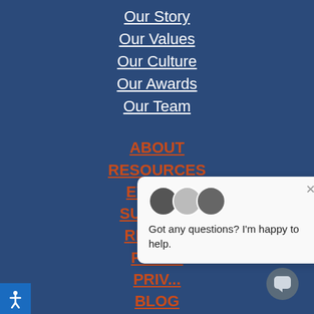Our Story
Our Values
Our Culture
Our Awards
Our Team
ABOUT
RESOURCES
EVENTS
SUPPORT
REFER...
PART...
PRIV...
BLOG
[Figure (screenshot): Chat popup with avatars showing 'Got any questions? I'm happy to help.' and a close X button]
[Figure (illustration): Chat icon button at bottom right]
[Figure (illustration): Accessibility icon button at bottom left]